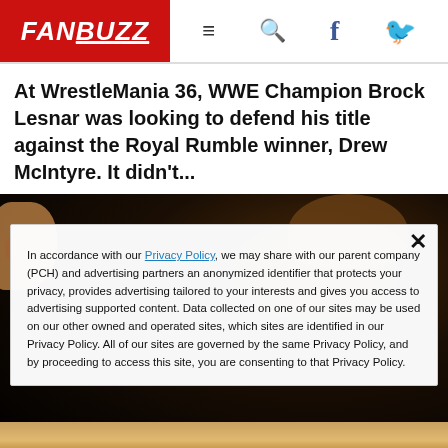FANBUZZ
At WrestleMania 36, WWE Champion Brock Lesnar was looking to defend his title against the Royal Rumble winner, Drew McIntyre. It didn't...
[Figure (photo): Dark action photo of a wrestling match, partially obscured by a privacy consent overlay dialog]
In accordance with our Privacy Policy, we may share with our parent company (PCH) and advertising partners an anonymized identifier that protects your privacy, provides advertising tailored to your interests and gives you access to advertising supported content. Data collected on one of our sites may be used on our other owned and operated sites, which sites are identified in our Privacy Policy. All of our sites are governed by the same Privacy Policy, and by proceeding to access this site, you are consenting to that Privacy Policy.